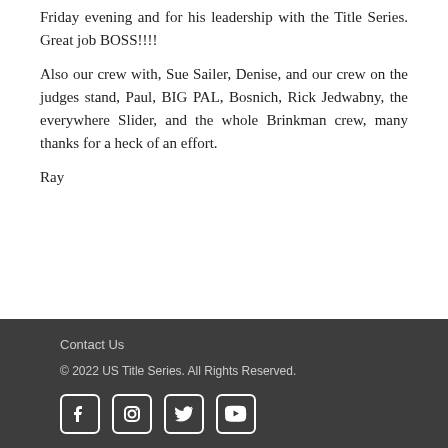Friday evening and for his leadership with the Title Series. Great job BOSS!!!!
Also our crew with, Sue Sailer, Denise, and our crew on the judges stand, Paul, BIG PAL, Bosnich, Rick Jedwabny, the everywhere Slider, and the whole Brinkman crew, many thanks for a heck of an effort.
Ray
Contact Us
© 2022 US Title Series. All Rights Reserved.